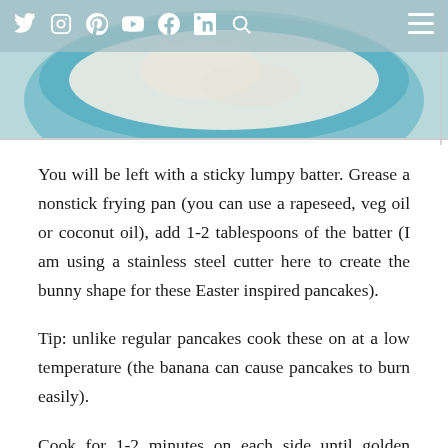social media icons: Twitter, Instagram, Pinterest, YouTube, Facebook, LinkedIn, Search, Menu
[Figure (photo): Close-up photo of batter in a blue mixing bowl, viewed from above, with a light teal background.]
You will be left with a sticky lumpy batter. Grease a nonstick frying pan (you can use a rapeseed, veg oil or coconut oil), add 1-2 tablespoons of the batter (I am using a stainless steel cutter here to create the bunny shape for these Easter inspired pancakes).
Tip: unlike regular pancakes cook these on at a low temperature (the banana can cause pancakes to burn easily).
Cook for 1-2 minutes on each side until golden brown. These do cook really quickly so keep a close eye on it.